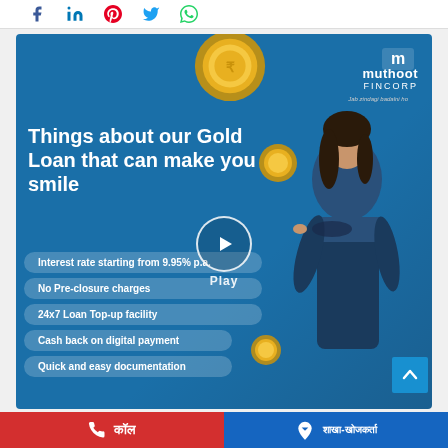[Figure (logo): Social media share icons: Facebook, LinkedIn, Pinterest, Twitter, WhatsApp]
[Figure (screenshot): Muthoot Fincorp Gold Loan advertisement video thumbnail. Blue background with gold coins, Muthoot Fincorp logo top right, headline 'Things about our Gold Loan that can make you smile', five feature pills: 'Interest rate starting from 9.95% p.a.', 'No Pre-closure charges', '24x7 Loan Top-up facility', 'Cash back on digital payment', 'Quick and easy documentation'. Play button overlay in center. Woman in blue salwar kameez on right side.]
कॉल   शाखा-खोजकर्ता